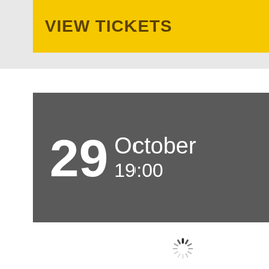VIEW TICKETS
[Figure (infographic): Dark grey banner showing event date: 29 October 19:00 in white text]
[Figure (other): Loading spinner icon (circular dashed spinner)]